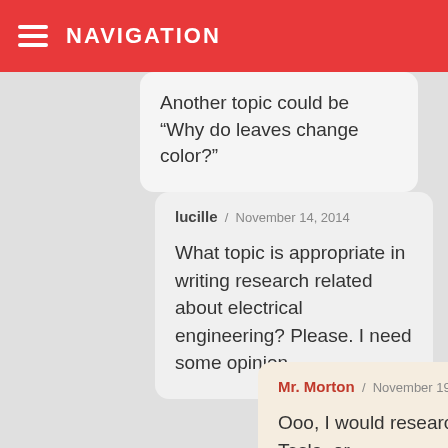NAVIGATION
Another topic could be “Why do leaves change color?”
lucille / November 14, 2014
What topic is appropriate in writing research related about electrical engineering? Please. I need some opinion.
Mr. Morton / November 19, 2014
Ooo, I would research Tesla, or